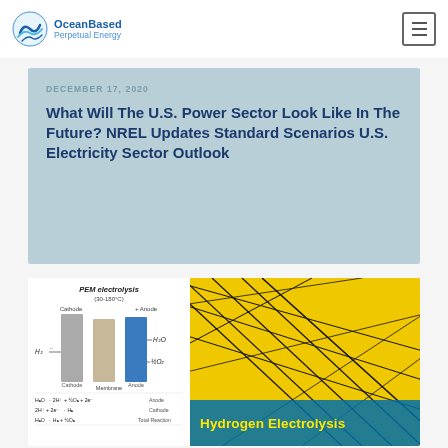OceanBased Perpetual Energy
DECEMBER 17, 2020
What Will The U.S. Power Sector Look Like In The Future? NREL Updates Standard Scenarios U.S. Electricity Sector Outlook
[Figure (illustration): PEM electrolysis diagram (30-180°C) showing cathode and anode bars with labels H2, H2O, ½O2, membrane, and chemical equations: H2O → 2H⁺ + ½O2 + 2e⁻ (Anode), 2H⁺ + 2e⁻ → H2 (Cathode), H2O → H2 + ½O2 (Total Reaction), combined with a yellow geometric graphic labeled 'Hydrogen Electrolysis']